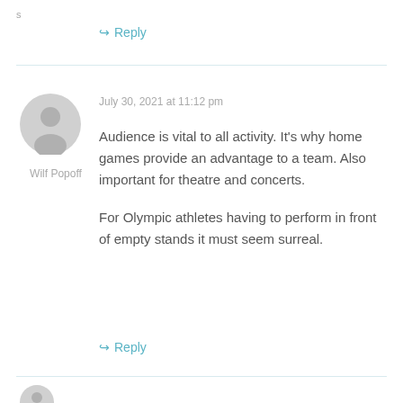s
↳ Reply
[Figure (illustration): Gray circular user avatar with silhouette of a person]
Wilf Popoff
July 30, 2021 at 11:12 pm
Audience is vital to all activity. It's why home games provide an advantage to a team. Also important for theatre and concerts.

For Olympic athletes having to perform in front of empty stands it must seem surreal.
↳ Reply
[Figure (illustration): Gray circular user avatar with silhouette of a person (partial, bottom)]